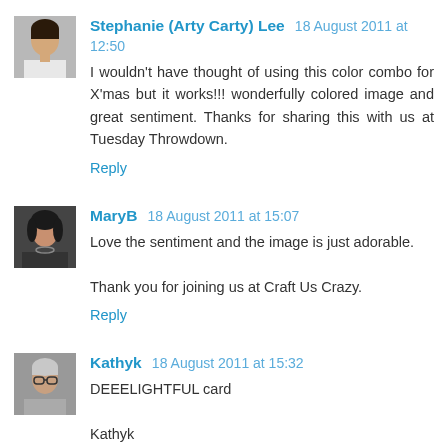[Figure (photo): Avatar photo of Stephanie (Arty Carty) Lee — woman with dark hair, white top]
Stephanie (Arty Carty) Lee 18 August 2011 at 12:50
I wouldn't have thought of using this color combo for X'mas but it works!!! wonderfully colored image and great sentiment. Thanks for sharing this with us at Tuesday Throwdown.
Reply
[Figure (photo): Avatar photo of MaryB — woman with dark hair and necklace]
MaryB 18 August 2011 at 15:07
Love the sentiment and the image is just adorable.

Thank you for joining us at Craft Us Crazy.
Reply
[Figure (photo): Avatar photo of Kathyk — woman with glasses]
Kathyk 18 August 2011 at 15:32
DEEELIGHTFUL card

Kathyk